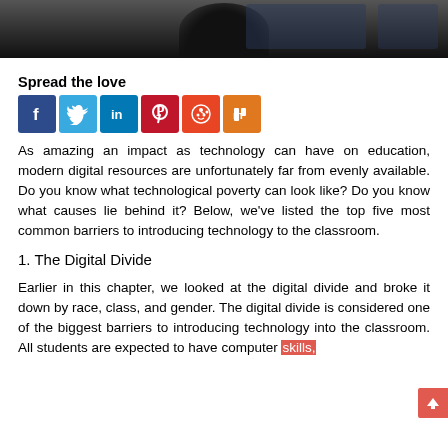[Figure (photo): Photo showing a person with their back to the camera sitting in front of a computer monitor in a classroom or lab setting. Dark/grayscale tones.]
Spread the love
[Figure (infographic): Row of social media share buttons: Facebook (blue), Twitter (light blue), LinkedIn (dark blue), Pinterest (red), Reddit (orange-red), Mix (orange)]
As amazing an impact as technology can have on education, modern digital resources are unfortunately far from evenly available. Do you know what technological poverty can look like? Do you know what causes lie behind it? Below, we've listed the top five most common barriers to introducing technology to the classroom.
1. The Digital Divide
Earlier in this chapter, we looked at the digital divide and broke it down by race, class, and gender. The digital divide is considered one of the biggest barriers to introducing technology into the classroom. All students are expected to have computer skills,